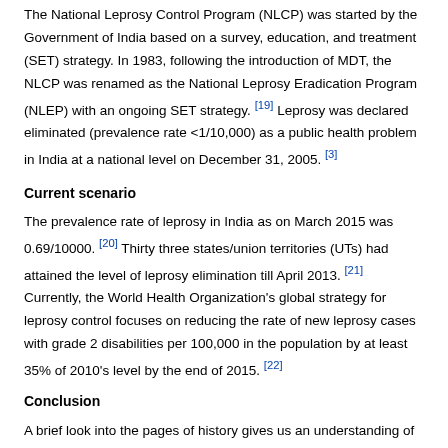The National Leprosy Control Program (NLCP) was started by the Government of India based on a survey, education, and treatment (SET) strategy. In 1983, following the introduction of MDT, the NLCP was renamed as the National Leprosy Eradication Program (NLEP) with an ongoing SET strategy. [19] Leprosy was declared eliminated (prevalence rate <1/10,000) as a public health problem in India at a national level on December 31, 2005. [3]
Current scenario
The prevalence rate of leprosy in India as on March 2015 was 0.69/10000. [20] Thirty three states/union territories (UTs) had attained the level of leprosy elimination till April 2013. [21] Currently, the World Health Organization's global strategy for leprosy control focuses on reducing the rate of new leprosy cases with grade 2 disabilities per 100,000 in the population by at least 35% of 2010's level by the end of 2015. [22]
Conclusion
A brief look into the pages of history gives us an understanding of the way in